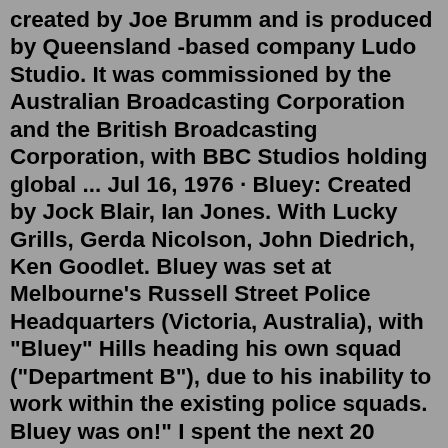created by Joe Brumm and is produced by Queensland -based company Ludo Studio. It was commissioned by the Australian Broadcasting Corporation and the British Broadcasting Corporation, with BBC Studios holding global ... Jul 16, 1976 · Bluey: Created by Jock Blair, Ian Jones. With Lucky Grills, Gerda Nicolson, John Diedrich, Ken Goodlet. Bluey was set at Melbourne's Russell Street Police Headquarters (Victoria, Australia), with "Bluey" Hills heading his own squad ("Department B"), due to his inability to work within the existing police squads. Bluey was on!" I spent the next 20 minutes drunkenly telling everyone I could about how good the show was and how it was the best parenting show. I have nightmares most nights, so I count Bluey dreams as a win :) enjoy the happy dreams and dont let people shit on things that make you happy.Aug 13, 2022 · Ludo Studio/BBC/Disney+. The new season sees Bluey and Bingo wanting to make a Father's Day breakfast for dad, messing everything up Lucy-at-the-